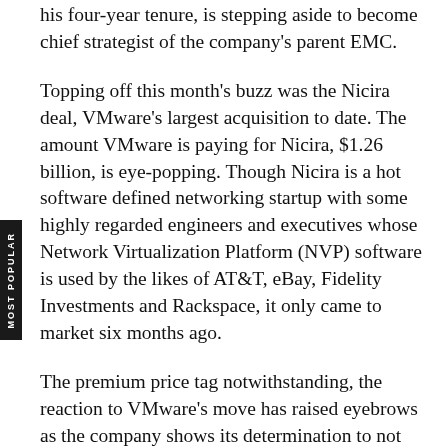his four-year tenure, is stepping aside to become chief strategist of the company's parent EMC.
Topping off this month's buzz was the Nicira deal, VMware's largest acquisition to date. The amount VMware is paying for Nicira, $1.26 billion, is eye-popping. Though Nicira is a hot software defined networking startup with some highly regarded engineers and executives whose Network Virtualization Platform (NVP) software is used by the likes of AT&T, eBay, Fidelity Investments and Rackspace, it only came to market six months ago.
The premium price tag notwithstanding, the reaction to VMware's move has raised eyebrows as the company shows its determination to not extend further into virtual networking but to lead in it. Cisco's stock on Tuesday dropped nearly 6 percent in reaction to the move. Adding insult to injury was Cisco's announcement that it is laying off 1,300